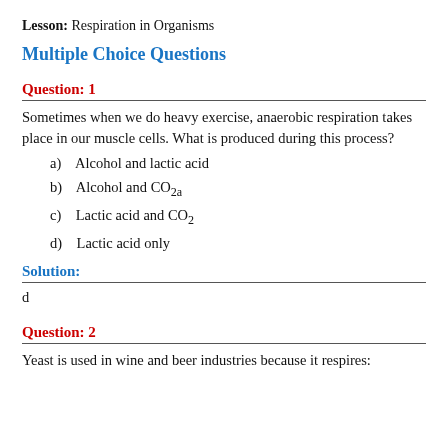Lesson: Respiration in Organisms
Multiple Choice Questions
Question: 1
Sometimes when we do heavy exercise, anaerobic respiration takes place in our muscle cells. What is produced during this process?
a)   Alcohol and lactic acid
b)   Alcohol and CO2a
c)   Lactic acid and CO2
d)   Lactic acid only
Solution:
d
Question: 2
Yeast is used in wine and beer industries because it respires: